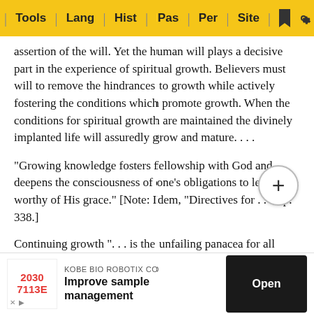Tools | Lang | Hist | Pas | Per | Site
assertion of the will. Yet the human will plays a decisive part in the experience of spiritual growth. Believers must will to remove the hindrances to growth while actively fostering the conditions which promote growth. When the conditions for spiritual growth are maintained the divinely implanted life will assuredly grow and mature. . . .
"Growing knowledge fosters fellowship with God and deepens the consciousness of one's obligations to lead a life worthy of His grace." [Note: Idem, "Directives for . . .," p. 338.]
Continuing growth ". . . is the unfailing panacea for all spiritual ills." [Note: H. A. Ironside, Expository Notes on the Epistles of Peter, p. 102.]
"We grow best in a loving family, and this is where the church comes in. A baby needs a family for protection, provis... raised... ical and e...